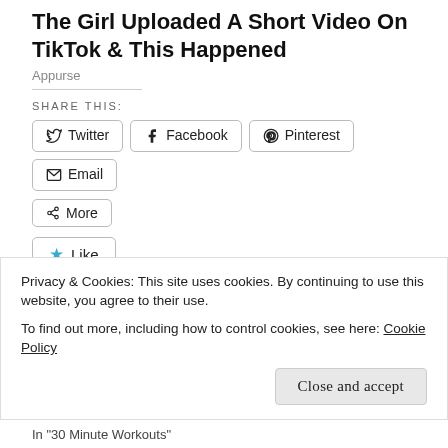The Girl Uploaded A Short Video On TikTok & This Happened
Appurse
SHARE THIS:
Twitter  Facebook  Pinterest  Email  More
Like
Be the first to like this.
RELATED
Privacy & Cookies: This site uses cookies. By continuing to use this website, you agree to their use.
To find out more, including how to control cookies, see here: Cookie Policy
Close and accept
In "30 Minute Workouts"